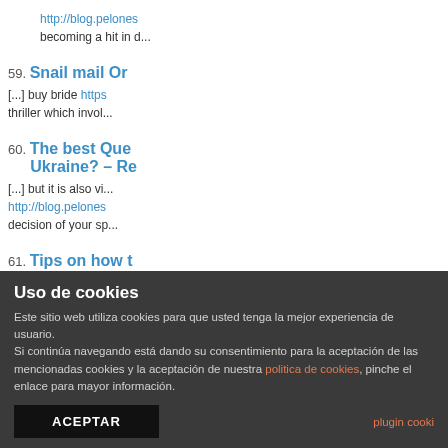http://blog.pelones... becoming a hit in c...
59. Snail mail Or... [...] buy bride http:... thriller which invol...
60. The best Que... Ukraine? – R... [...] but it is also vi... http://blog.pelones... decision of your sp...
61. Tips on how t... INDONESIA... [...] do that, you w... http://blog.pelones...
62. Methods to M...
Uso de cookies
Este sitio web utiliza cookies para que usted tenga la mejor experiencia de usuario. Si continúa navegando está dando su consentimiento para la aceptación de las mencionadas cookies y la aceptación de nuestra politica de cookies, pinche el enlace para mayor información.
ACEPTAR    plugin cooki...